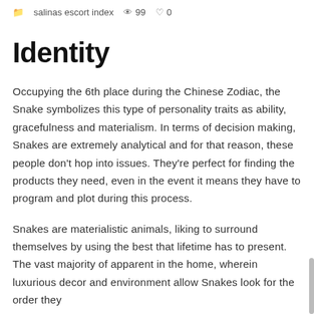salinas escort index  👁 99  ♡ 0
Identity
Occupying the 6th place during the Chinese Zodiac, the Snake symbolizes this type of personality traits as ability, gracefulness and materialism. In terms of decision making, Snakes are extremely analytical and for that reason, these people don't hop into issues. They're perfect for finding the products they need, even in the event it means they have to program and plot during this process.
Snakes are materialistic animals, liking to surround themselves by using the best that lifetime has to present. The vast majority of apparent in the home, wherein luxurious decor and environment allow Snakes look for the order they...